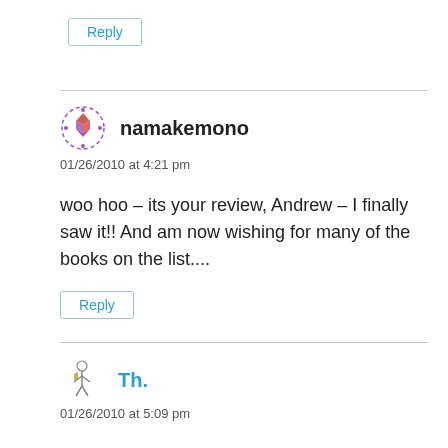Reply
namakemono
01/26/2010 at 4:21 pm
woo hoo – its your review, Andrew – I finally saw it!! And am now wishing for many of the books on the list....
Reply
Th.
01/26/2010 at 5:09 pm